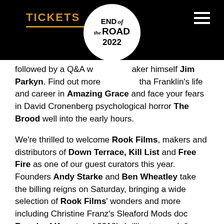TICKETS
followed by a Q&A with the filmmaker himself Jim Parkyn. Find out more about Aretha Franklin's life and career in Amazing Grace and face your fears in David Cronenberg psychological horror The Brood well into the early hours.
We're thrilled to welcome Rook Films, makers and distributors of Down Terrace, Kill List and Free Fire as one of our guest curators this year. Founders Andy Starke and Ben Wheatley take the billing reigns on Saturday, bringing a wide selection of Rook Films' wonders and more including Christine Franz's Sleaford Mods doc Bunch of Kunst and 2018's brilliant comedy/horror In Fabric.
Sunday's programme has been hand-picked by